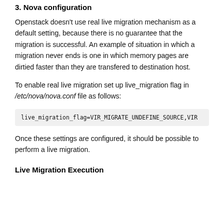3. Nova configuration
Openstack doesn't use real live migration mechanism as a default setting, because there is no guarantee that the migration is successful. An example of situation in which a migration never ends is one in which memory pages are dirtied faster than they are transfered to destination host.
To enable real live migration set up live_migration flag in /etc/nova/nova.conf file as follows:
live_migration_flag=VIR_MIGRATE_UNDEFINE_SOURCE,VIR
Once these settings are configured, it should be possible to perform a live migration.
Live Migration Execution